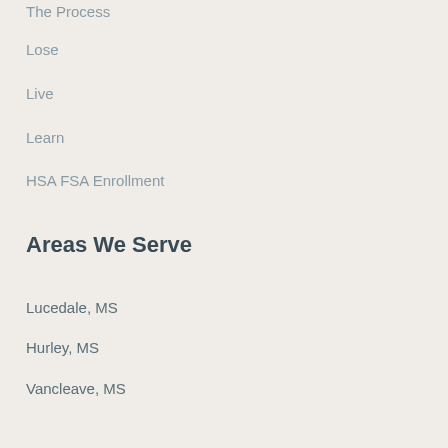The Process
Lose
Live
Learn
HSA FSA Enrollment
Areas We Serve
Lucedale, MS
Hurley, MS
Vancleave, MS
Saint Martin, MS
Wiggins, MS